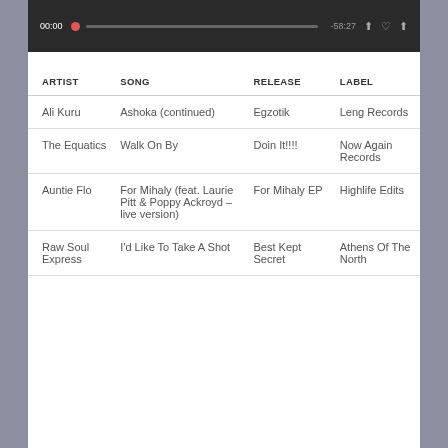[Figure (screenshot): Audio player bar showing 00:00 timestamp, progress bar, -58:27 remaining, and playback control icons on dark background]
| ARTIST | SONG | RELEASE | LABEL |
| --- | --- | --- | --- |
| Ali Kuru | Ashoka (continued) | Egzotik | Leng Records |
| The Equatics | Walk On By | Doin It!!!! | Now Again Records |
| Auntie Flo | For Mihaly (feat. Laurie Pitt & Poppy Ackroyd – live version) | For Mihaly EP | Highlife Edits |
| Raw Soul Express | I'd Like To Take A Shot | Best Kept Secret | Athens Of The North |